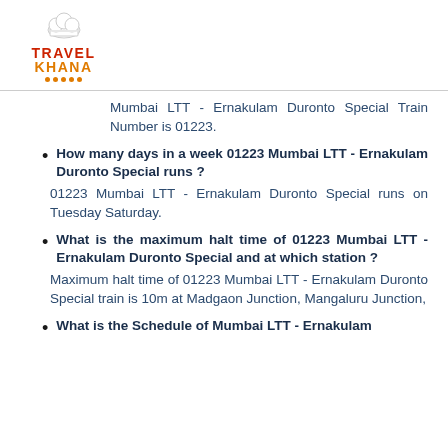[Figure (logo): TravelKhana logo with chef hat icon, red TRAVEL text and orange KHANA text with orange dots below]
Mumbai LTT - Ernakulam Duronto Special Train Number is 01223.
How many days in a week 01223 Mumbai LTT - Ernakulam Duronto Special runs ?
01223 Mumbai LTT - Ernakulam Duronto Special runs on Tuesday Saturday.
What is the maximum halt time of 01223 Mumbai LTT - Ernakulam Duronto Special and at which station ?
Maximum halt time of 01223 Mumbai LTT - Ernakulam Duronto Special train is 10m at Madgaon Junction, Mangaluru Junction,
What is the Schedule of Mumbai LTT - Ernakulam